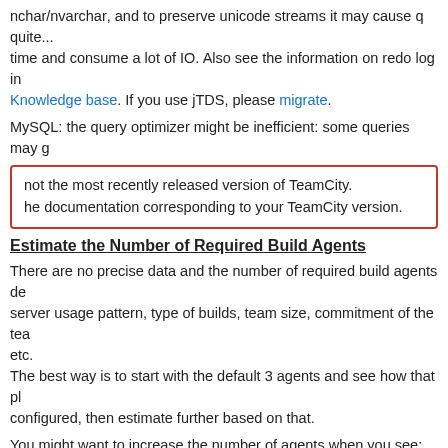nchar/nvarchar, and to preserve unicode streams it may cause quite a bit of extra processing time and consume a lot of IO. Also see the information on redo log in our Knowledge base. If you use jTDS, please migrate.
MySQL: the query optimizer might be inefficient: some queries may g…
not the most recently released version of TeamCity.
the documentation corresponding to your TeamCity version.
Estimate the Number of Required Build Agents
There are no precise data and the number of required build agents depends on the server usage pattern, type of builds, team size, commitment of the team members, etc.
The best way is to start with the default 3 agents and see how that plays out once configured, then estimate further based on that.
You might want to increase the number of agents when you see:
builds waiting for an idle agent in the build queue;
more changes included into each build than you find comfortable (affects failures analysis);
necessity for different environments.
We've seen patterns of having an agent per each 20 build configurations.
Or a build agent per 1-2 developers.